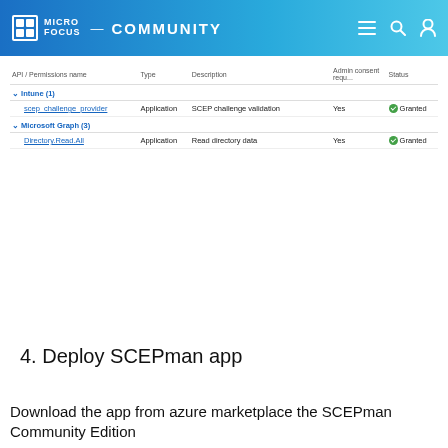Micro Focus Community
| API / Permissions name | Type | Description | Admin consent requ... | Status |
| --- | --- | --- | --- | --- |
| Intune (1) |  |  |  |  |
| scep_challenge_provider | Application | SCEP challenge validation | Yes | Granted |
| Microsoft Graph (3) |  |  |  |  |
| Directory.Read.All | Application | Read directory data | Yes | Granted |
4. Deploy SCEPman app
Download the app from azure marketplace the SCEPman Community Edition